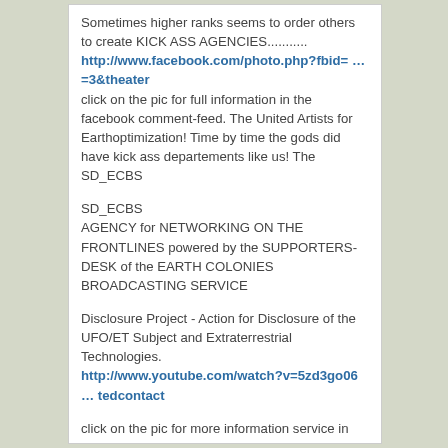Sometimes higher ranks seems to order others to create KICK ASS AGENCIES........... http://www.facebook.com/photo.php?fbid= … =3&theater click on the pic for full information in the facebook comment-feed. The United Artists for Earthoptimization! Time by time the gods did have kick ass departements like us! The SD_ECBS
SD_ECBS AGENCY for NETWORKING ON THE FRONTLINES powered by the SUPPORTERS-DESK of the EARTH COLONIES BROADCASTING SERVICE
Disclosure Project - Action for Disclosure of the UFO/ET Subject and Extraterrestrial Technologies. http://www.youtube.com/watch?v=5zd3go06 … tedcontact
click on the pic for more information service in the comment-feed of this newsfeed on facebook concerning this subject.